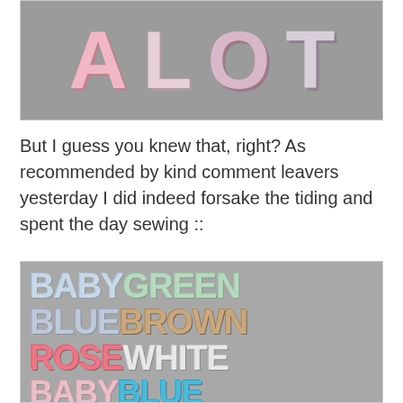[Figure (photo): Large fabric letters spelling 'A LOT' on a grey background. The letters appear to be decorative padded fabric letters in pink and white polka dot patterns.]
But I guess you knew that, right? As recommended by kind comment leavers yesterday I did indeed forsake the tiding and spent the day sewing ::
[Figure (photo): Fabric letters arranged in rows on a grey surface spelling out color names: BABY GREEN, BLUE BROWN, ROSE WHITE, BABY BLUE, PINK PINK. Each word is made from fabric matching the color described.]